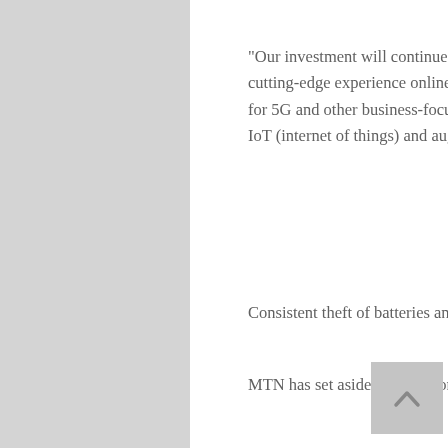“Our investment will continue to drive the rollout of 5G to enable seamless, fast and cutting-edge experience online. We expect to see Gauteng continuing to lead the drive for 5G and other business-focused innovations such as AI (artificial intelligence), the IoT (internet of things) and augmented reality grow,” Tukei said.
Consistent theft of batteries and vandalism at network towers remains a major threat.
MTN has set aside R30 million for Gauteng, to help limit the direct damage.
This will go towards adhoc repairs, general repairs, fibre repairs and vandalism.
“At MTN SA we are committed to improving access to digital opportunities for more South Africans by accelerating the delivery of